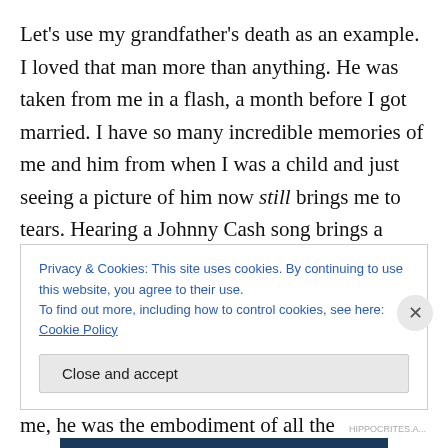Let's use my grandfather's death as an example. I loved that man more than anything. He was taken from me in a flash, a month before I got married. I have so many incredible memories of me and him from when I was a child and just seeing a picture of him now still brings me to tears. Hearing a Johnny Cash song brings a swell of emotions so strong that I often have to stop and remind myself to breathe. I found a book of poetry by Robert Service and had to buy it just because it reminded me of him. I have become Scrooge at Christmas because, to me, he was the embodiment of all the Christmas-spirit. He
Privacy & Cookies: This site uses cookies. By continuing to use this website, you agree to their use.
To find out more, including how to control cookies, see here: Cookie Policy
Close and accept